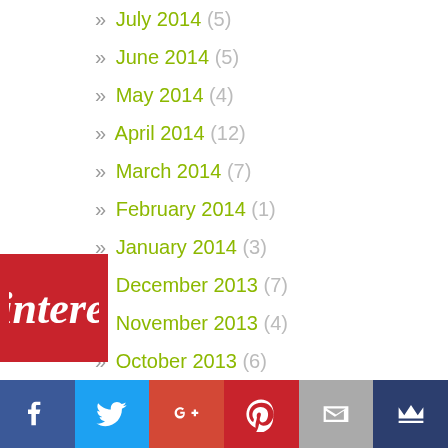» July 2014 (5)
» June 2014 (5)
» May 2014 (4)
» April 2014 (12)
» March 2014 (7)
» February 2014 (1)
» January 2014 (3)
» December 2013 (7)
» November 2013 (4)
» October 2013 (6)
» September 2013 (6)
» August 2013 (6)
» July 2013 (7)
[Figure (logo): Pinterest badge/button red square with Pinterest logo]
[Figure (infographic): Social share bar with Facebook, Twitter, Google+, Pinterest, Email, and Crown icons]